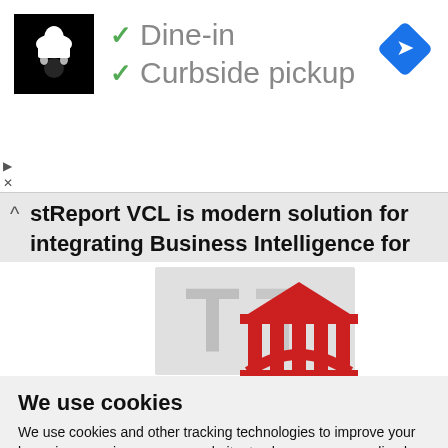[Figure (screenshot): Screenshot of a webpage showing a restaurant listing with a chef logo, dine-in and curbside pickup options with checkmarks, a blue diamond navigation icon, an advertisement bar for FastReport VCL, a FastReport logo image, and a cookie consent banner.]
✓ Dine-in
✓ Curbside pickup
stReport VCL is modern solution for integrating Business Intelligence for Delphi
We use cookies
We use cookies and other tracking technologies to improve your browsing experience on our website, to show you personalized content and targeted ads, to analyze our website traffic, and to understand where our visitors are coming from.